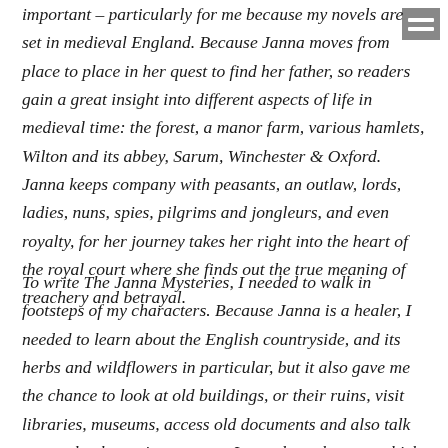important – particularly for me because my novels are set in medieval England. Because Janna moves from place to place in her quest to find her father, so readers gain a great insight into different aspects of life in medieval time: the forest, a manor farm, various hamlets, Wilton and its abbey, Sarum, Winchester & Oxford. Janna keeps company with peasants, an outlaw, lords, ladies, nuns, spies, pilgrims and jongleurs, and even royalty, for her journey takes her right into the heart of the royal court where she finds out the true meaning of treachery and betrayal.
To write The Janna Mysteries, I needed to walk in footsteps of my characters. Because Janna is a healer, I needed to learn about the English countryside, and its herbs and wildflowers in particular, but it also gave me the chance to look at old buildings, or their ruins, visit libraries, museums, access old documents and also talk to people, the various experts I met along the way, which has been invaluable.